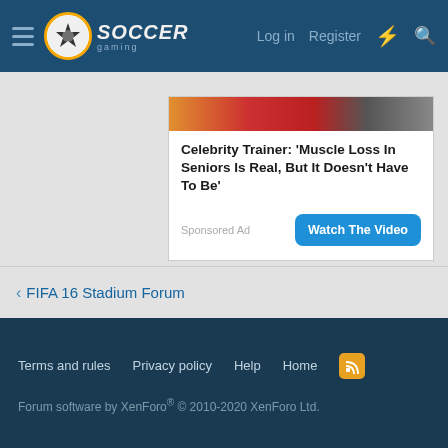SoccerGaming — Log in   Register
[Figure (screenshot): Advertisement card with partial image of people at top, headline text 'Celebrity Trainer: Muscle Loss In Seniors Is Real, But It Doesn't Have To Be', Sponsored Ad label, and Watch The Video button]
< FIFA 16 Stadium Forum
Terms and rules   Privacy policy   Help   Home   [RSS]   Forum software by XenForo® © 2010-2020 XenForo Ltd.